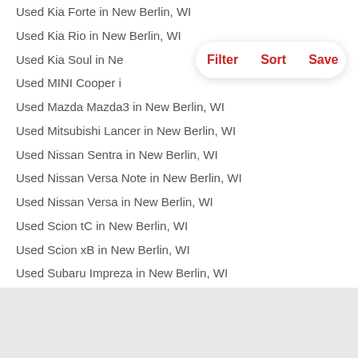Used Kia Forte in New Berlin, WI
Used Kia Rio in New Berlin, WI
Used Kia Soul in New Berlin, WI
Used MINI Cooper in New Berlin, WI
Used Mazda Mazda3 in New Berlin, WI
Used Mitsubishi Lancer in New Berlin, WI
Used Nissan Sentra in New Berlin, WI
Used Nissan Versa Note in New Berlin, WI
Used Nissan Versa in New Berlin, WI
Used Scion tC in New Berlin, WI
Used Scion xB in New Berlin, WI
Used Subaru Impreza in New Berlin, WI
Used Toyota Corolla in New Berlin, WI
Used Toyota Yaris in New Berlin, WI
Used Volkswagen Beetle in New Berlin, WI
Used Volkswagen Golf in New Berlin, WI
Used Volkswagen Jetta in New Berlin, WI
Hyundai Models in Wisconsin
Used Hyundai Accent in New Berlin, WI